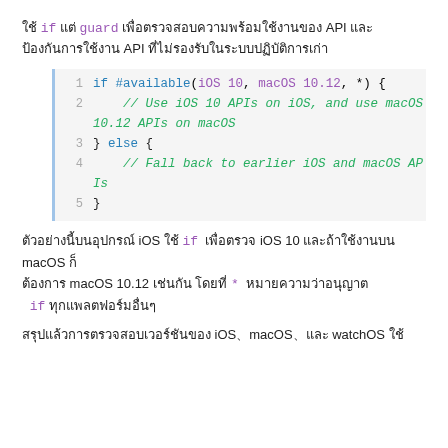ใช้ if แต่ guard เพื่อตรวจสอบความพร้อมใช้งานของ API และ ป้องกันการใช้งาน API ที่ไม่รองรับในระบบปฏิบัติการเก่า
[Figure (screenshot): Swift code block showing if #available(iOS 10, macOS 10.12, *) conditional availability check with line numbers 1-5]
ตัวอย่างนี้บนอุปกรณ์ iOS ใช้ if เพื่อตรวจ iOS 10 และถ้าใช้งานบน macOS ก็ต้องการ macOS 10.12 เช่นกัน โดยที่ * หมายความว่าอนุญาต if ทุกแพลตฟอร์มอื่นๆ
สรุปแล้วการตรวจสอบเวอร์ชันของ iOS、macOS、และ watchOS ใช้